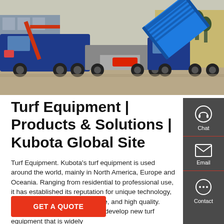[Figure (photo): Blue dump trucks / heavy vehicles parked in a yard, one with its bed raised, a crane boom visible on the left side.]
Turf Equipment | Products & Solutions | Kubota Global Site
Turf Equipment. Kubota's turf equipment is used around the world, mainly in North America, Europe and Oceania. Ranging from residential to professional use, it has established its reputation for unique technology, outstanding cutting performance, and high quality. Kubota will continually strive to develop new turf equipment that is widely
[Figure (infographic): Side panel with dark gray background showing three contact options: Chat (headset icon), Email (envelope icon), Contact (speech bubble icon), separated by red divider lines.]
GET A QUOTE